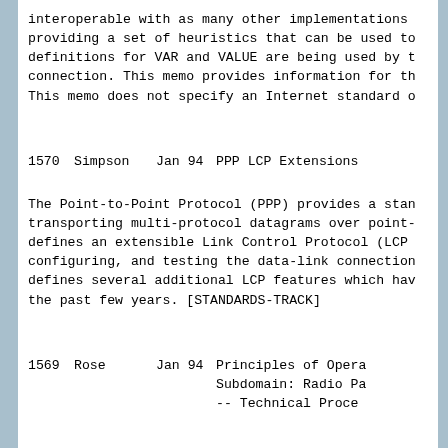interoperable with as many other implementations providing a set of heuristics that can be used to definitions for VAR and VALUE are being used by t connection. This memo provides information for th This memo does not specify an Internet standard c
1570      Simpson      Jan 94      PPP LCP Extensions
The Point-to-Point Protocol (PPP) provides a sta transporting multi-protocol datagrams over point- defines an extensible Link Control Protocol (LCP configuring, and testing the data-link connection defines several additional LCP features which ha the past few years. [STANDARDS-TRACK]
1569      Rose         Jan 94      Principles of Opera                                 Subdomain: Radio Pa                                 -- Technical Proce
This memo describes a technique for radio paging info to store. In a tion: this memo f